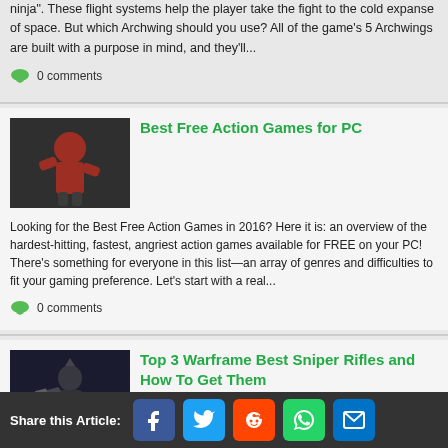ninja". These flight systems help the player take the fight to the cold expanse of space. But which Archwing should you use? All of the game's 5 Archwings are built with a purpose in mind, and they'll...
0 comments
Best Free Action Games for PC
[Figure (photo): Screenshot of a video game character in red outfit performing an action move]
Looking for the Best Free Action Games in 2016? Here it is: an overview of the hardest-hitting, fastest, angriest action games available for FREE on your PC! There's something for everyone in this list—an array of genres and difficulties to fit your gaming preference. Let's start with a real...
0 comments
Top 3 Warframe Best Sniper Rifles and How To Get Them
[Figure (photo): Screenshot of a dark armored character holding weapons in Warframe game]
With hundreds of guns available to build in Warframe, it
Share this Article: